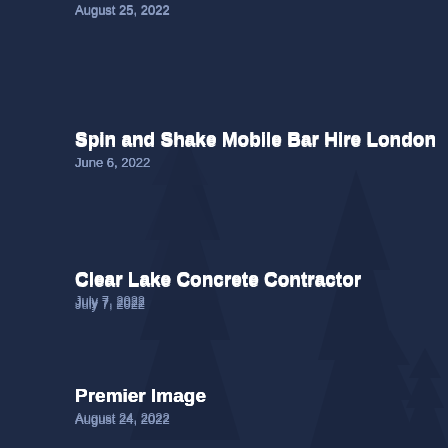August 25, 2022
Spin and Shake Mobile Bar Hire London
June 6, 2022
Clear Lake Concrete Contractor
July 7, 2022
Premier Image
August 24, 2022
redbox+ of the Triad
May 5, 2022
Yorktown Kitchen and Bath
December 31, 2021